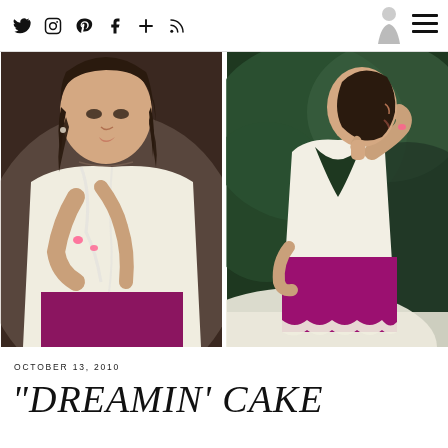Social media navigation icons: Twitter, Instagram, Pinterest, Facebook, Plus, RSS feed; logo area; hamburger menu
[Figure (photo): Close-up fashion photo of an Asian woman wearing a white open-back top and magenta/fuchsia skirt with lace trim, looking at camera, dark hair, pink nails, dark background]
[Figure (photo): Fashion photo showing the back view of the same woman in white open-back top and magenta/fuchsia mini skirt with lace hem, green foliage background, posing with arm raised behind her]
OCTOBER 13, 2010
"DREAMIN' CAKE"